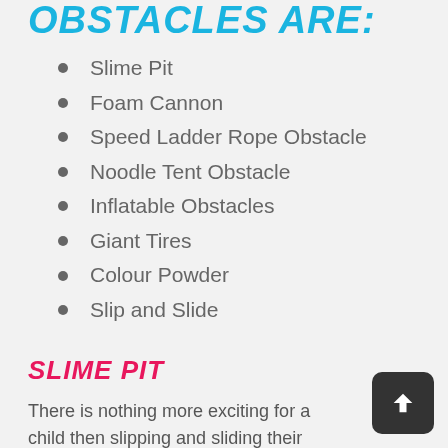OBSTACLES ARE:
Slime Pit
Foam Cannon
Speed Ladder Rope Obstacle
Noodle Tent Obstacle
Inflatable Obstacles
Giant Tires
Colour Powder
Slip and Slide
SLIME PIT
There is nothing more exciting for a child then slipping and sliding their way through a